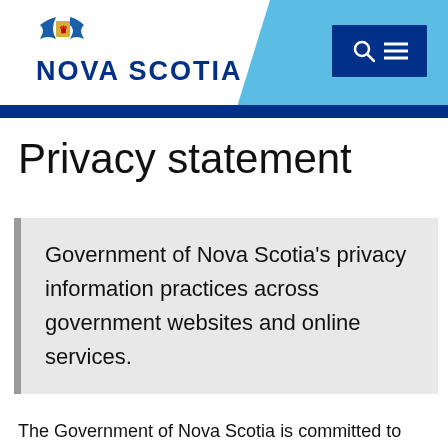Nova Scotia Government website header with logo and search/menu button
Privacy statement
Government of Nova Scotia's privacy information practices across government websites and online services.
The Government of Nova Scotia is committed to